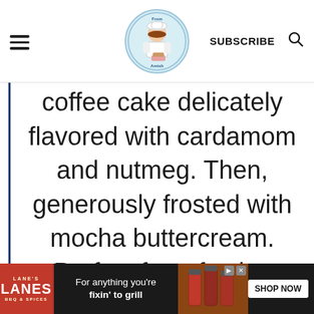[Figure (logo): Website header with hamburger menu, circular logo for a baking blog, SUBSCRIBE text, and search icon]
coffee cake delicately flavored with cardamom and nutmeg. Then, generously frosted with mocha buttercream. Perfect for a festive celebration or special
[Figure (other): Lane's BBQ advertisement banner: 'For anything you're fixin' to grill' with SHOP NOW button]